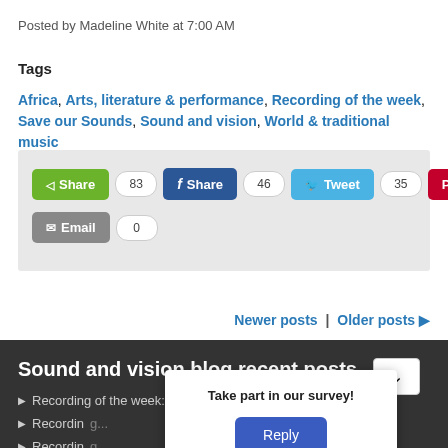Posted by Madeline White at 7:00 AM
Tags
Africa, Arts, literature & performance, Recording of the week, Save our Sounds, Sound and vision, World & traditional music
[Figure (other): Social sharing buttons: Share (83), Share/Facebook (46), Tweet (35), Pin (0), Email (0)]
Newer posts | Older posts ▶
Sound and vision blog recent posts
Recording of the week: Wind in yacht rigging
Recording...
Recording...
Recording...
Recording...
Take part in our survey!
Reply